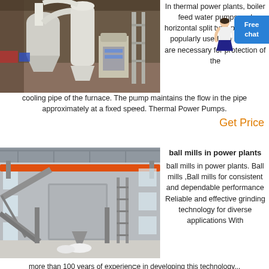[Figure (photo): Industrial grinding/milling equipment with cyclone separators and dust collectors in a factory setting]
In thermal power plants, boiler feed water pumps and horizontal split type pumps are popularly used. The pumps are necessary for protection of the cooling pipe of the furnace. The pump maintains the flow in the pipe approximately at a fixed speed. Thermal Power Pumps.
Get Price
[Figure (photo): Large industrial ball mill facility interior with overhead crane (orange beam), conveyor system, and processing equipment]
ball mills in power plants
ball mills in power plants. Ball mills ,Ball mills for consistent and dependable performance Reliable and effective grinding technology for diverse applications With
more than 100 years of experience in developing this technology...